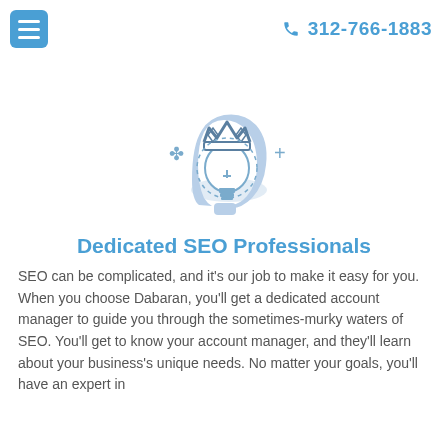312-766-1883
[Figure (illustration): Icon of a human head profile in light blue with a glowing lightbulb inside the head and a crown on top, surrounded by decorative sparkle and plus symbols. Represents SEO intelligence/expertise.]
Dedicated SEO Professionals
SEO can be complicated, and it's our job to make it easy for you. When you choose Dabaran, you'll get a dedicated account manager to guide you through the sometimes-murky waters of SEO. You'll get to know your account manager, and they'll learn about your business's unique needs. No matter your goals, you'll have an expert in